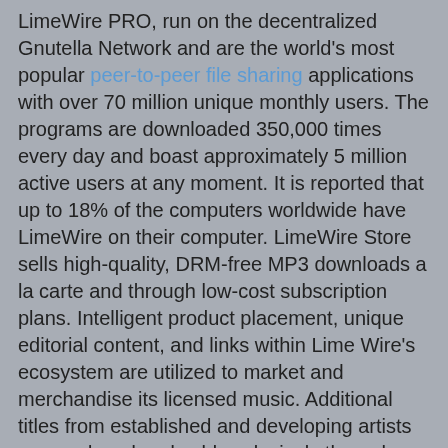LimeWire PRO, run on the decentralized Gnutella Network and are the world's most popular peer-to-peer file sharing applications with over 70 million unique monthly users. The programs are downloaded 350,000 times every day and boast approximately 5 million active users at any moment. It is reported that up to 18% of the computers worldwide have LimeWire on their computer. LimeWire Store sells high-quality, DRM-free MP3 downloads a la carte and through low-cost subscription plans. Intelligent product placement, unique editorial content, and links within Lime Wire's ecosystem are utilized to market and merchandise its licensed music. Additional titles from established and developing artists are produced and sold exclusively through LimeWire Store. The Lime Wire team enjoys a dynamic work environment at company headquarters in New York City.